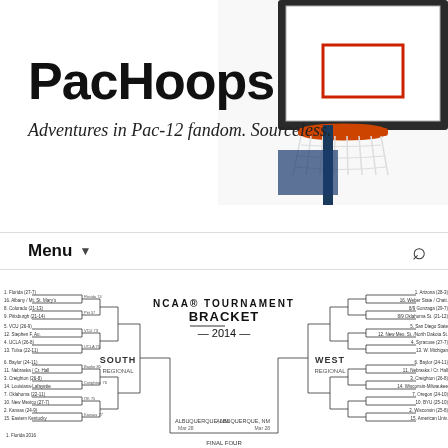[Figure (photo): Basketball hoop and backboard illustration cropped at top-right corner of the page]
PacHoops
Adventures in Pac-12 fandom. Sourceless.
Menu ▼
[Figure (other): NCAA Tournament Bracket 2014 showing South and West regions with team matchups and bracket lines, partially visible]